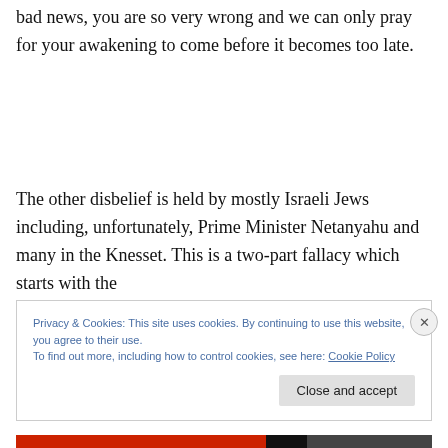bad news, you are so very wrong and we can only pray for your awakening to come before it becomes too late.
The other disbelief is held by mostly Israeli Jews including, unfortunately, Prime Minister Netanyahu and many in the Knesset. This is a two-part fallacy which starts with the
Privacy & Cookies: This site uses cookies. By continuing to use this website, you agree to their use.
To find out more, including how to control cookies, see here: Cookie Policy
Close and accept